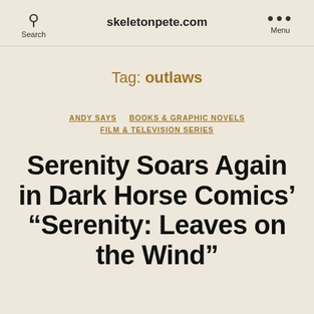skeletonpete.com
Tag: outlaws
ANDY SAYS   BOOKS & GRAPHIC NOVELS   FILM & TELEVISION SERIES
Serenity Soars Again in Dark Horse Comics' “Serenity: Leaves on the Wind”